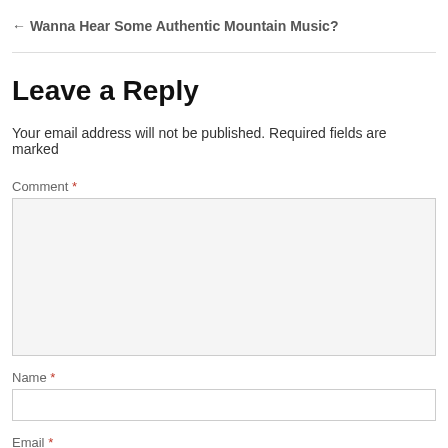← Wanna Hear Some Authentic Mountain Music?
Leave a Reply
Your email address will not be published. Required fields are marked
Comment *
Name *
Email *